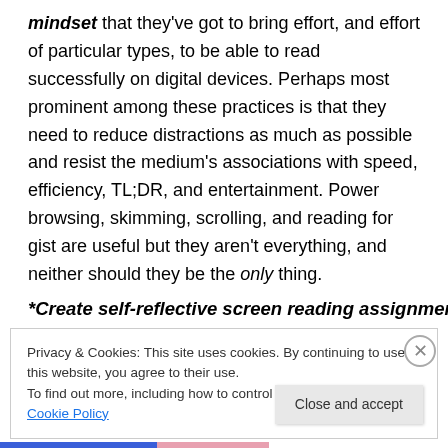mindset that they've got to bring effort, and effort of particular types, to be able to read successfully on digital devices. Perhaps most prominent among these practices is that they need to reduce distractions as much as possible and resist the medium's associations with speed, efficiency, TL;DR, and entertainment. Power browsing, skimming, scrolling, and reading for gist are useful but they aren't everything, and neither should they be the only thing.
*Create self-reflective screen reading assignments
Privacy & Cookies: This site uses cookies. By continuing to use this website, you agree to their use.
To find out more, including how to control cookies, see here: Cookie Policy